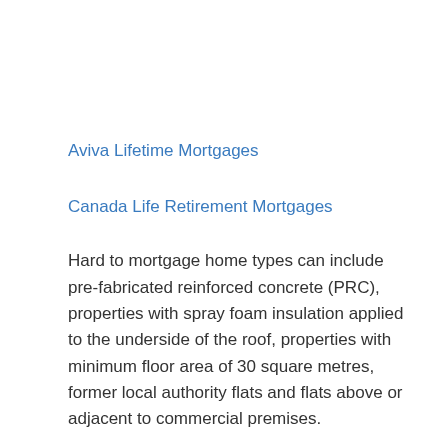Aviva Lifetime Mortgages
Canada Life Retirement Mortgages
Hard to mortgage home types can include pre-fabricated reinforced concrete (PRC), properties with spray foam insulation applied to the underside of the roof, properties with minimum floor area of 30 square metres, former local authority flats and flats above or adjacent to commercial premises.
Legal and General Retirement Mortgages